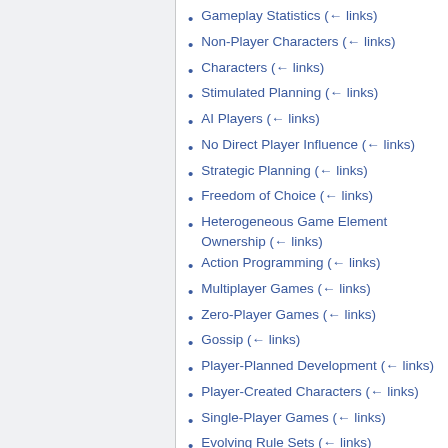Gameplay Statistics  (← links)
Non-Player Characters  (← links)
Characters  (← links)
Stimulated Planning  (← links)
AI Players  (← links)
No Direct Player Influence  (← links)
Strategic Planning  (← links)
Freedom of Choice  (← links)
Heterogeneous Game Element Ownership  (← links)
Action Programming  (← links)
Multiplayer Games  (← links)
Zero-Player Games  (← links)
Gossip  (← links)
Player-Planned Development  (← links)
Player-Created Characters  (← links)
Single-Player Games  (← links)
Evolving Rule Sets  (← links)